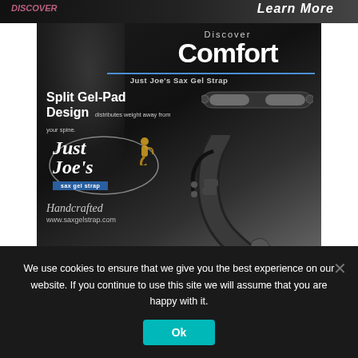[Figure (screenshot): Top banner with partial text 'Learn More' visible on dark background]
[Figure (advertisement): Just Joe's Sax Gel Strap advertisement on dark background. Shows 'Discover Comfort' heading, 'Just Joe's Sax Gel Strap' subtitle, 'Split Gel-Pad Design distributes weight away from your spine.' text, Just Joe's logo with saxophone player illustration, 'sax gel strap' badge in blue, 'Handcrafted' script text, 'www.saxgelstrap.com' website, and product images of gel pad strap and hanging neck strap.]
We use cookies to ensure that we give you the best experience on our website. If you continue to use this site we will assume that you are happy with it.
Ok